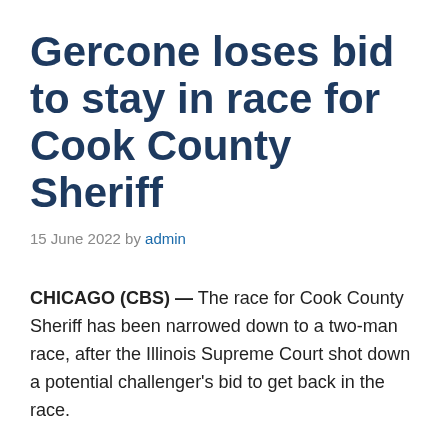Gercone loses bid to stay in race for Cook County Sheriff
15 June 2022 by admin
CHICAGO (CBS) — The race for Cook County Sheriff has been narrowed down to a two-man race, after the Illinois Supreme Court shot down a potential challenger's bid to get back in the race.
Carmen Navarro Gercone originally was kicked